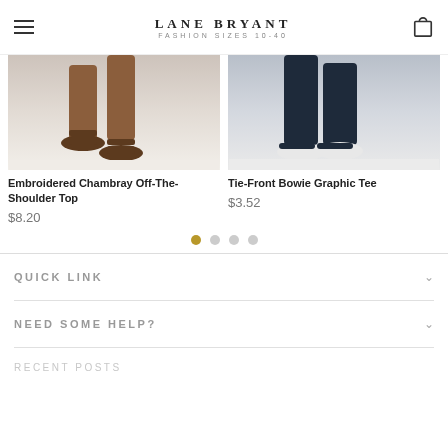LANE BRYANT FASHION SIZES 10-40
[Figure (photo): Product image showing legs of a model wearing sandals on a light background]
Embroidered Chambray Off-The-Shoulder Top
$8.20
[Figure (photo): Product image showing legs of a model wearing dark jeans and white sneakers on a light background]
Tie-Front Bowie Graphic Tee
$3.52
QUICK LINK
NEED SOME HELP?
RECENT POSTS